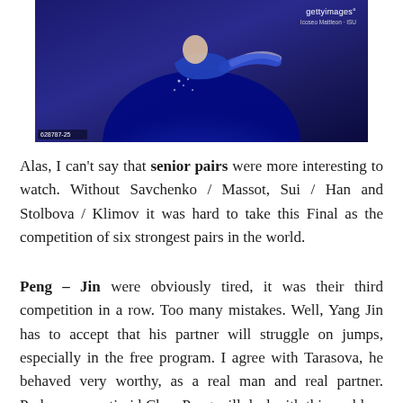[Figure (photo): Figure skater in a blue costume performing, with Getty Images watermark in the top right corner and photo ID 628787-25 in the bottom left]
Alas, I can't say that senior pairs were more interesting to watch. Without Savchenko / Massot, Sui / Han and Stolbova / Klimov it was hard to take this Final as the competition of six strongest pairs in the world.
Peng – Jin were obviously tired, it was their third competition in a row. Too many mistakes. Well, Yang Jin has to accept that his partner will struggle on jumps, especially in the free program. I agree with Tarasova, he behaved very worthy, as a real man and real partner. Perhaps, once timid Chen Peng will deal with this problem thanks to such a gentle attitude of